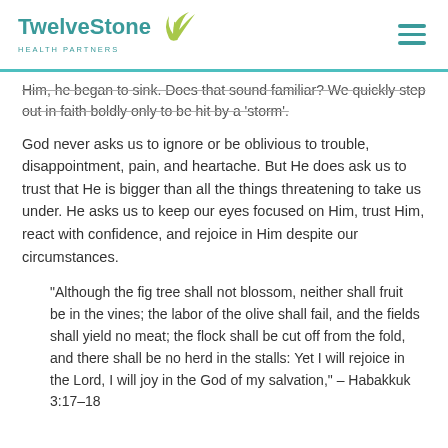TwelveStone Health Partners
Him, he began to sink. Does that sound familiar? We quickly step out in faith boldly only to be hit by a 'storm'.
God never asks us to ignore or be oblivious to trouble, disappointment, pain, and heartache. But He does ask us to trust that He is bigger than all the things threatening to take us under. He asks us to keep our eyes focused on Him, trust Him, react with confidence, and rejoice in Him despite our circumstances.
“Although the fig tree shall not blossom, neither shall fruit be in the vines; the labor of the olive shall fail, and the fields shall yield no meat; the flock shall be cut off from the fold, and there shall be no herd in the stalls: Yet I will rejoice in the Lord, I will joy in the God of my salvation,” – Habakkuk 3:17–18